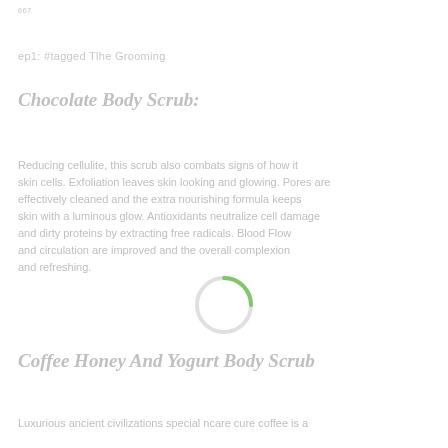667
ep1: #tagged Tlhe Grooming
Chocolate Body Scrub
Reducing cellulite, this scrub also combats signs of how it skin cells. Exfoliation leaves skin looking and glowing. Pores are effectively cleaned and the extra nourishing formula keeps skin with a luminous glow. Antioxidants neutralize cell damage and dirty proteins by extracting free radicals. Blood flow and circulation are improved and the overall complexion and refreshing.
Coffee Honey And Yogurt Body Scrub
Luxurious ancient civilizations special ncare cure coffee is a